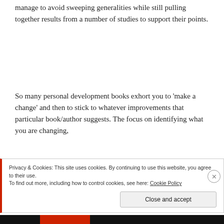manage to avoid sweeping generalities while still pulling together results from a number of studies to support their points.
So many personal development books exhort you to 'make a change' and then to stick to whatever improvements that particular book/author suggests. The focus on identifying what you are changing,
Privacy & Cookies: This site uses cookies. By continuing to use this website, you agree to their use.
To find out more, including how to control cookies, see here: Cookie Policy
Close and accept